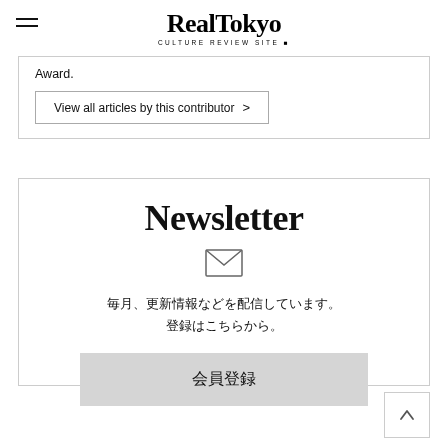RealTokyo — CULTURE REVIEW SITE
Award.
View all articles by this contributor >
Newsletter
毎月、更新情報などを配信しています。
登録はこちらから。
会員登録